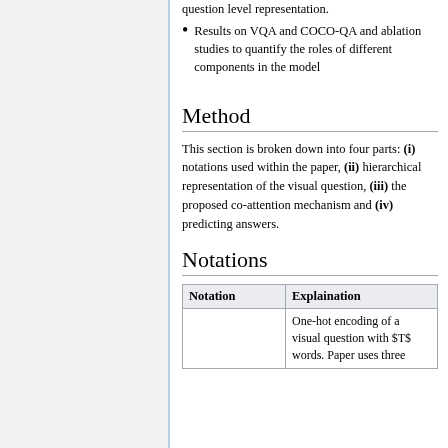question level representation.
Results on VQA and COCO-QA and ablation studies to quantify the roles of different components in the model
Method
This section is broken down into four parts: (i) notations used within the paper, (ii) hierarchical representation of the visual question, (iii) the proposed co-attention mechanism and (iv) predicting answers.
Notations
| Notation | Explaination |
| --- | --- |
|  | One-hot encoding of a visual question with $T$ words. Paper uses three |